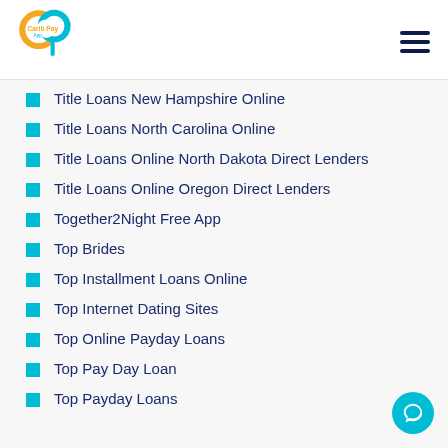Carib Pay App
Title Loans New Hampshire Online
Title Loans North Carolina Online
Title Loans Online North Dakota Direct Lenders
Title Loans Online Oregon Direct Lenders
Together2Night Free App
Top Brides
Top Installment Loans Online
Top Internet Dating Sites
Top Online Payday Loans
Top Pay Day Loan
Top Payday Loans